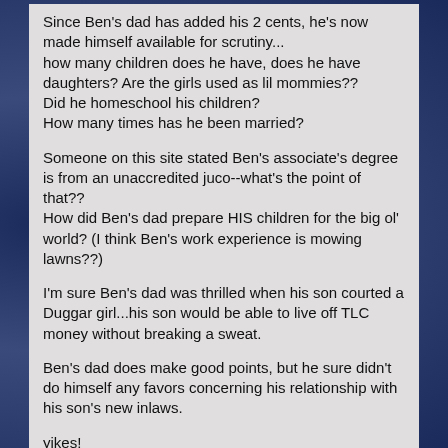Since Ben's dad has added his 2 cents, he's now made himself available for scrutiny...
how many children does he have, does he have daughters? Are the girls used as lil mommies??
Did he homeschool his children?
How many times has he been married?
Someone on this site stated Ben's associate's degree is from an unaccredited juco--what's the point of that??
How did Ben's dad prepare HIS children for the big ol' world? (I think Ben's work experience is mowing lawns??)
I'm sure Ben's dad was thrilled when his son courted a Duggar girl...his son would be able to live off TLC money without breaking a sweat.
Ben's dad does make good points, but he sure didn't do himself any favors concerning his relationship with his son's new inlaws.
yikes!